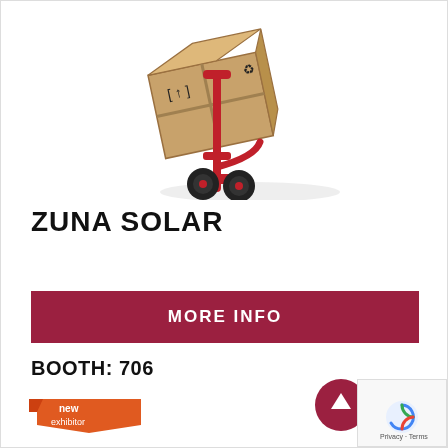[Figure (illustration): Hand truck / dolly with cardboard boxes stacked on it, red metal frame with black wheels, boxes have fragile and recycling symbols]
ZUNA SOLAR
MORE INFO
BOOTH: 706
[Figure (logo): New exhibitor badge — orange/red ribbon shape with text 'new exhibitor']
[Figure (other): Scroll-to-top button, dark red circle with white upward arrow]
[Figure (other): reCAPTCHA widget with Privacy and Terms text]